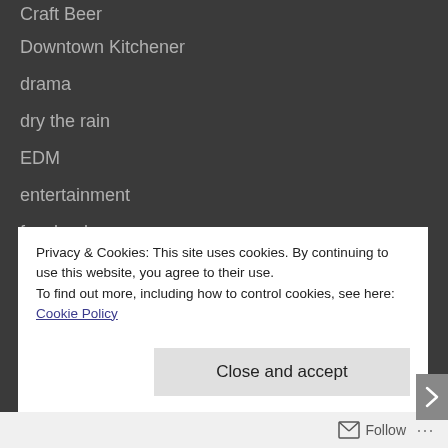Craft Beer
Downtown Kitchener
drama
dry the rain
EDM
entertainment
facebook
Family Guy
Fox
funny
Privacy & Cookies: This site uses cookies. By continuing to use this website, you agree to their use.
To find out more, including how to control cookies, see here: Cookie Policy
Close and accept
Follow